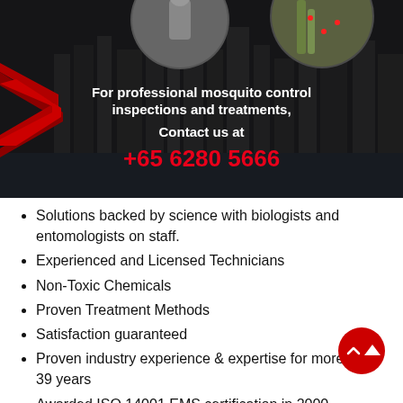[Figure (photo): Banner image with Singapore city skyline background, red chevron arrow on left, circular photos of pest control worker at top, overlay text promoting mosquito control services with phone number +65 6280 5666]
Solutions backed by science with biologists and entomologists on staff.
Experienced and Licensed Technicians
Non-Toxic Chemicals
Proven Treatment Methods
Satisfaction guaranteed
Proven industry experience & expertise for more than 39 years
Awarded ISO 14001 EMS certification in 2000